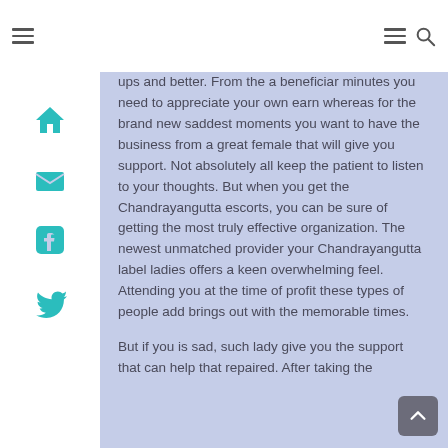Navigation bar with hamburger menus and search icon
ups and better. From the a beneficiar minutes you need to appreciate your own earn whereas for the brand new saddest moments you want to have the business from a great female that will give you support. Not absolutely all keep the patient to listen to your thoughts. But when you get the Chandrayangutta escorts, you can be sure of getting the most truly effective organization. The newest unmatched provider your Chandrayangutta label ladies offers a keen overwhelming feel. Attending you at the time of profit these types of people add brings out with the memorable times.
But if you is sad, such lady give you the support that can help that repaired. After taking the